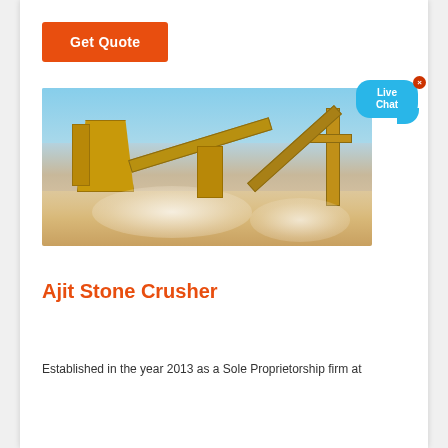[Figure (other): Get Quote orange button]
[Figure (photo): Stone crushing plant with yellow conveyor belts and machinery, dust clouds visible, clear blue sky background]
Ajit Stone Crusher
Established in the year 2013 as a Sole Proprietorship firm at